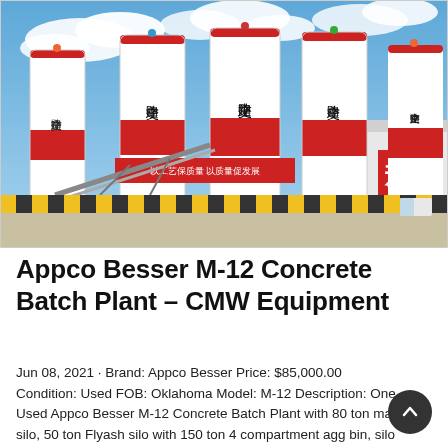[Figure (photo): Industrial concrete batch plant facility with multiple tall white cylindrical silos marked with red bands and Chinese characters (中交路建), colorful flags on top, yellow/black hazard striped safety barriers at base, conveyor belt structure, and a large industrial warehouse building with red signage on the right side. Blue sky with clouds in background.]
Appco Besser M-12 Concrete Batch Plant – CMW Equipment
Jun 08, 2021 · Brand: Appco Besser Price: $85,000.00 Condition: Used FOB: Oklahoma Model: M-12 Description: One Used Appco Besser M-12 Concrete Batch Plant with 80 ton main silo, 50 ton Flyash silo with 150 ton 4 compartment agg bin, silo collectors 24" x 85' radial stacker